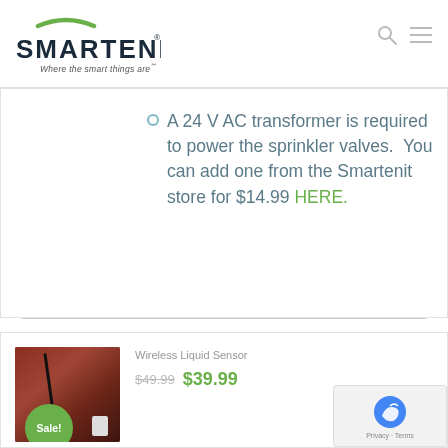SMARTENIT — Where the smart things are℠
A 24 V AC transformer is required to power the sprinkler valves.  You can add one from the Smartenit store for $14.99 HERE.
Wireless Liquid Sensor
$49.99  $39.99